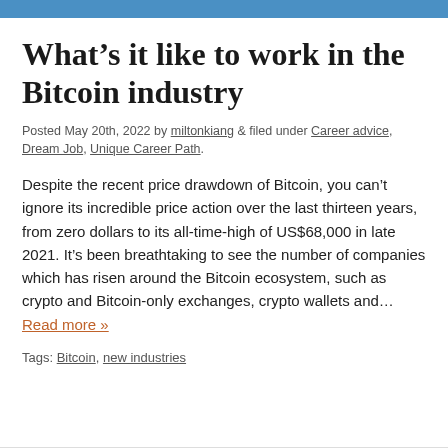What’s it like to work in the Bitcoin industry
Posted May 20th, 2022 by miltonkiang & filed under Career advice, Dream Job, Unique Career Path.
Despite the recent price drawdown of Bitcoin, you can’t ignore its incredible price action over the last thirteen years, from zero dollars to its all-time-high of US$68,000 in late 2021. It’s been breathtaking to see the number of companies which has risen around the Bitcoin ecosystem, such as crypto and Bitcoin-only exchanges, crypto wallets and… Read more »
Tags: Bitcoin, new industries